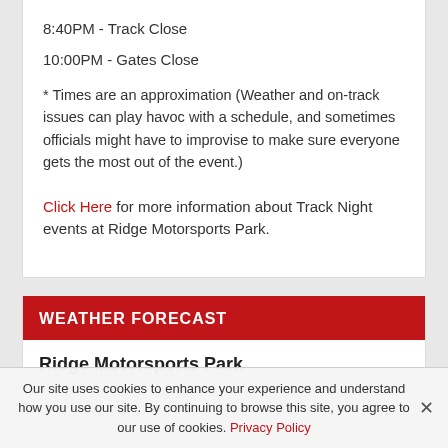8:40PM - Track Close
10:00PM - Gates Close
* Times are an approximation (Weather and on-track issues can play havoc with a schedule, and sometimes officials might have to improvise to make sure everyone gets the most out of the event.)
Click Here for more information about Track Night events at Ridge Motorsports Park.
WEATHER FORECAST
Ridge Motorsports Park
Our site uses cookies to enhance your experience and understand how you use our site. By continuing to browse this site, you agree to our use of cookies. Privacy Policy